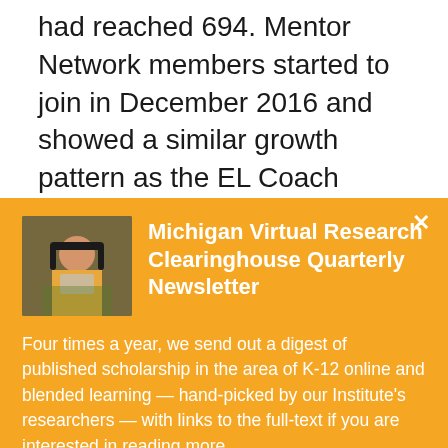had reached 694. Mentor Network members started to join in December 2016 and showed a similar growth pattern as the EL Coach community's during the time period's first half. With a gradual increase in the
[Figure (other): Modal popup overlay with orange background. Contains a small photo of a woman with headphones working at a laptop, a bold white title 'Michigan Virtual Research Clearinghouse Quarterly Newsletter', descriptive body text, and a white 'Subscribe now' button.]